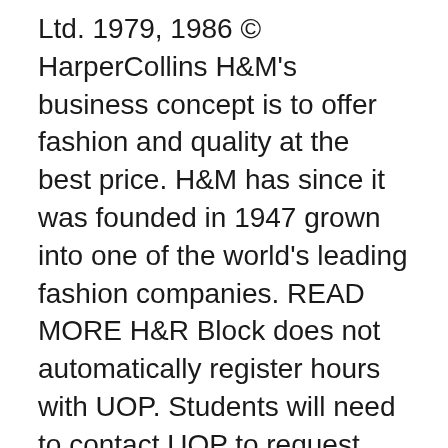Ltd. 1979, 1986 © HarperCollins H&M's business concept is to offer fashion and quality at the best price. H&M has since it was founded in 1947 grown into one of the world's leading fashion companies. READ MORE H&R Block does not automatically register hours with UOP. Students will need to contact UOP to request matriculation of credit. Additional fees may apply from the University of Phoenix® Western Governors University is a registered trademark in the United States and/or other countries. H&R Block does not automatically register hours with WGU. Login to your H&R Block or MyBlock account anytime to securely access your tax information. Once you sign-in, check the status of your tax refund, view past tax returns and more.